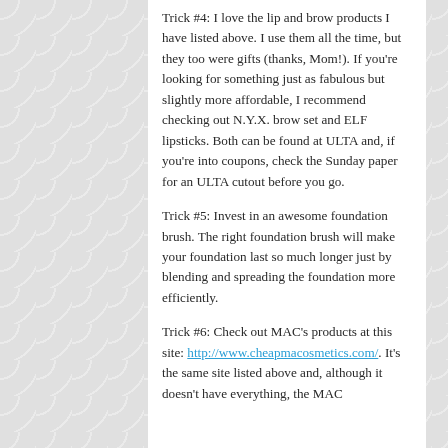Trick #4: I love the lip and brow products I have listed above. I use them all the time, but they too were gifts (thanks, Mom!). If you're looking for something just as fabulous but slightly more affordable, I recommend checking out N.Y.X. brow set and ELF lipsticks. Both can be found at ULTA and, if you're into coupons, check the Sunday paper for an ULTA cutout before you go.
Trick #5: Invest in an awesome foundation brush. The right foundation brush will make your foundation last so much longer just by blending and spreading the foundation more efficiently.
Trick #6: Check out MAC's products at this site: http://www.cheapmacosmetics.com/. It's the same site listed above and, although it doesn't have everything, the MAC foundation are GREAT value site and...